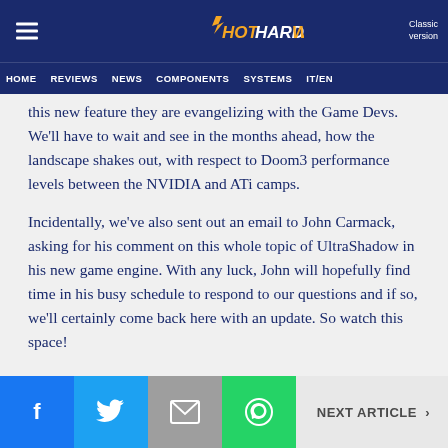HotHardware — HOME | REVIEWS | NEWS | COMPONENTS | SYSTEMS | IT/EN — Classic version
this new feature they are evangelizing with the Game Devs.  We'll have to wait and see in the months ahead, how the landscape shakes out, with respect to Doom3 performance levels between the NVIDIA and ATi camps.
Incidentally, we've also sent out an email to John Carmack, asking for his comment on this whole topic of UltraShadow in his new game engine.  With any luck, John will hopefully find time in his busy schedule to respond to our questions and if so, we'll certainly come back here with an update.  So watch this space!
NEXT ARTICLE >